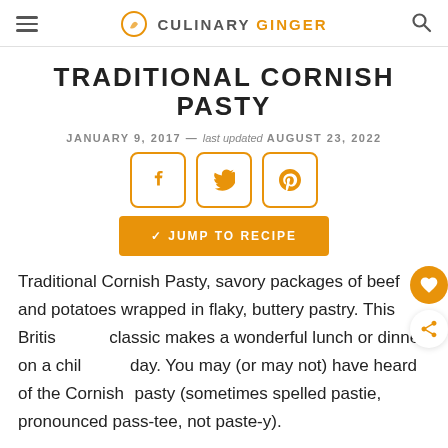CULINARY GINGER
TRADITIONAL CORNISH PASTY
JANUARY 9, 2017 — last updated AUGUST 23, 2022
[Figure (other): Social share buttons: Facebook, Twitter, Pinterest]
[Figure (other): Jump to Recipe button]
Traditional Cornish Pasty, savory packages of beef and potatoes wrapped in flaky, buttery pastry. This British classic makes a wonderful lunch or dinner on a chilly day. You may (or may not) have heard of the Cornish pasty (sometimes spelled pastie, pronounced pass-tee, not paste-y).